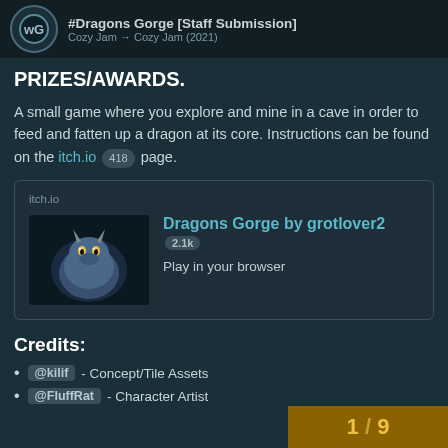#Dragons Gorge [Staff Submission] • Cozy Jam → Cozy Jam (2021)
PRIZES/AWARDS.
A small game where you explore and mine in a cave in order to feed and fatten up a dragon at its core. Instructions can be found on the itch.io 418 page.
[Figure (screenshot): Embedded itch.io link card showing 'Dragons Gorge by grotlover2 2.1k - Play in your browser' with a dragon thumbnail image]
Credits:
@kilif - Concept/Tile Assets
@FluffRat - Character Artist
1 / 9